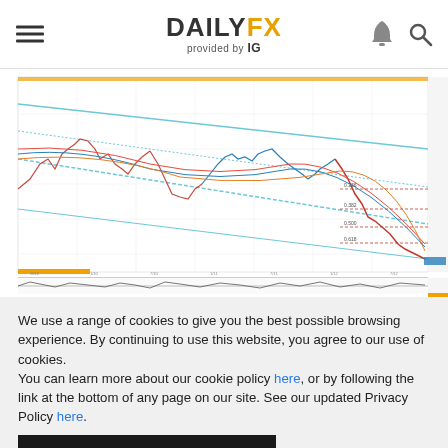DAILYFX provided by IG
[Figure (continuous-plot): Financial trading chart showing price action with moving averages, Fibonacci retracement levels, and a momentum oscillator below. The main chart displays candlestick/OHLC data with a downward trend channel drawn in light blue. Multiple moving average lines (red, blue, orange) are overlaid. Fibonacci retracement levels are labeled on the right side. A sub-chart below shows an oscillator indicator with values oscillating around zero.]
We use a range of cookies to give you the best possible browsing experience. By continuing to use this website, you agree to our use of cookies.
You can learn more about our cookie policy here, or by following the link at the bottom of any page on our site. See our updated Privacy Policy here.
Accept